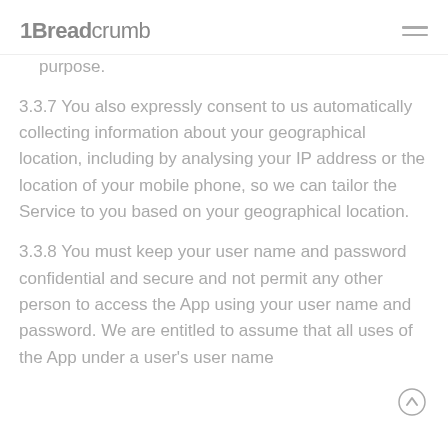1Breadcrumb
purpose.
3.3.7 You also expressly consent to us automatically collecting information about your geographical location, including by analysing your IP address or the location of your mobile phone, so we can tailor the Service to you based on your geographical location.
3.3.8 You must keep your user name and password confidential and secure and not permit any other person to access the App using your user name and password. We are entitled to assume that all uses of the App under a user's user name